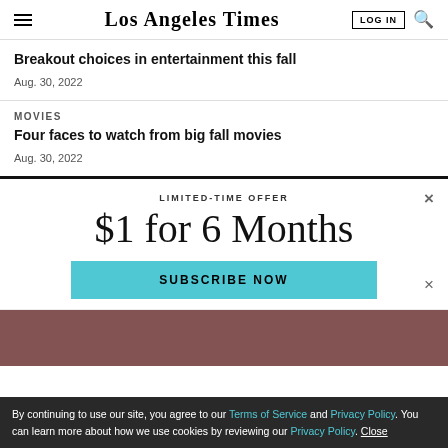Los Angeles Times
Breakout choices in entertainment this fall
Aug. 30, 2022
MOVIES
Four faces to watch from big fall movies
Aug. 30, 2022
LIMITED-TIME OFFER
$1 for 6 Months
SUBSCRIBE NOW
By continuing to use our site, you agree to our Terms of Service and Privacy Policy. You can learn more about how we use cookies by reviewing our Privacy Policy. Close